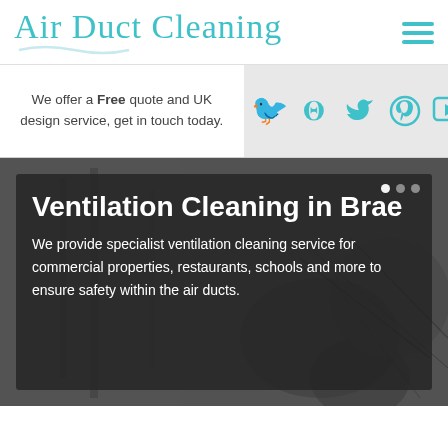Air Duct Cleaning
[Figure (logo): Hamburger menu icon with three teal horizontal lines]
We offer a Free quote and UK design service, get in touch today.
[Figure (infographic): Social media icons: Twitter, Pinterest, YouTube, Tumblr in teal]
[Figure (photo): Background photo of dirty ventilation ductwork in grayscale]
Ventilation Cleaning in Brae
We provide specialist ventilation cleaning service for commercial properties, restaurants, schools and more to ensure safety within the air ducts.